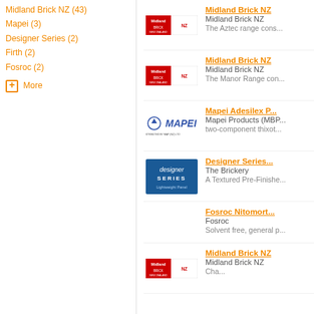Midland Brick NZ (43)
Mapei (3)
Designer Series (2)
Firth (2)
Fosroc (2)
+ More
[Figure (logo): Midland Brick NZ logo - red and white rectangular logo]
Midland Brick NZ
Midland Brick NZ
The Aztec range cons...
[Figure (logo): Midland Brick NZ logo - red and white rectangular logo]
Midland Brick NZ
Midland Brick NZ
The Manor Range con...
[Figure (logo): Mapei logo - blue text with symbol on white background]
Mapei Adesilex P...
Mapei Products (MBP...
two-component thixot...
[Figure (logo): Designer Series Lightweight Panel logo - blue square with white text]
Designer Series...
The Brickery
A Textured Pre-Finishe...
Fosroc Nitomort...
Fosroc
Solvent free, general p...
[Figure (logo): Midland Brick NZ logo - red and white rectangular logo]
Midland Brick NZ
Midland Brick NZ
Cha...